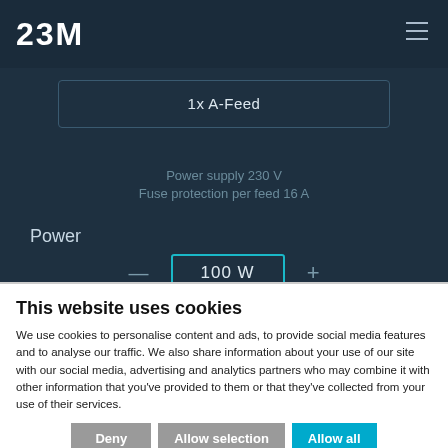[Figure (screenshot): 23M website interface showing a dark-themed product configurator with '1x A-Feed' option, power supply specs (230V, 16A), and a Power control set to 100W]
This website uses cookies
We use cookies to personalise content and ads, to provide social media features and to analyse our traffic. We also share information about your use of our site with our social media, advertising and analytics partners who may combine it with other information that you've provided to them or that they've collected from your use of their services.
Deny | Allow selection | Allow all
Necessary  Preferences  Statistics  Marketing  Show details